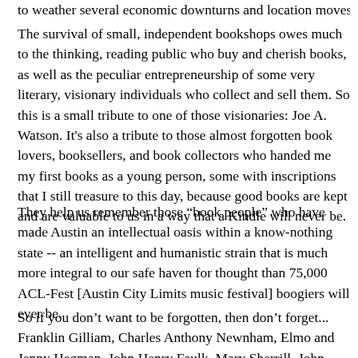to weather several economic downturns and location moves.
The survival of small, independent bookshops owes much to the thinking, reading public who buy and cherish books, as well as the peculiar entrepreneurship of some very literary, visionary individuals who collect and sell them. So this is a small tribute to one of those visionaries: Joe A. Watson. It’s also a tribute to those almost forgotten book lovers, booksellers, and book collectors who handed me my first books as a young person, some with inscriptions that I still treasure to this day, because good books are kept and are valuable to us in a way that a Kindle will never be.
They help us remember those “book people” who have made Austin an intellectual oasis within a know-nothing state -- an intelligent and humanistic strain that is much more integral to our safe haven for thought than 75,000 ACL-Fest [Austin City Limits music festival] boogiers will ever be.
So if you don’t want to be forgotten, then don’t forget... Franklin Gilliam, Charles Anthony Newnham, Elmo and Jenny Hegman, John Henry Faulk, Mary Sherrill, John Patrick Sullivan, Jean and Russell Lee, Willie W. Pratt...